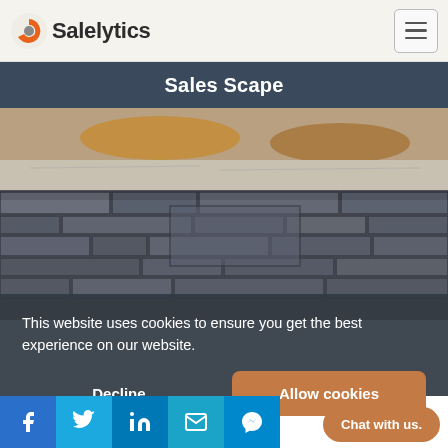Salelytics
Sales Scape
[Figure (photo): A dog lying on a stone ledge wall made of dark grey stacked slate/stone blocks, with the dog's paws and body visible resting on a concrete ledge above]
This website uses cookies to ensure you get the best experience on our website.
Decline
Allow cookies
[Figure (infographic): Social media icon bar with Facebook, Twitter, LinkedIn, Email, and Messenger icons in teal/blue squares]
Chat with us.